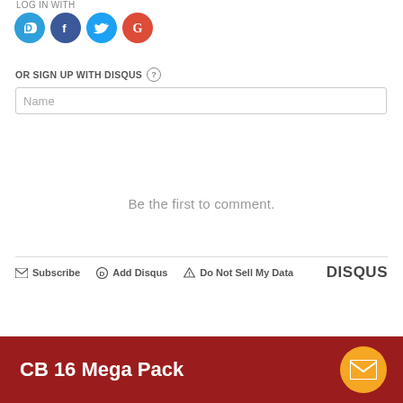LOG IN WITH
[Figure (logo): Four social login icons: Disqus (blue speech bubble with D), Facebook (dark blue circle with f), Twitter (light blue circle with bird), Google (red circle with G)]
OR SIGN UP WITH DISQUS (?)
[Figure (screenshot): Name input text field with placeholder text 'Name']
Be the first to comment.
Subscribe  Add Disqus  Do Not Sell My Data  DISQUS
[Figure (infographic): CB 16 Mega Pack banner with dark red background, white bold text 'CB 16 Mega Pack', and orange circular mail icon on the right]